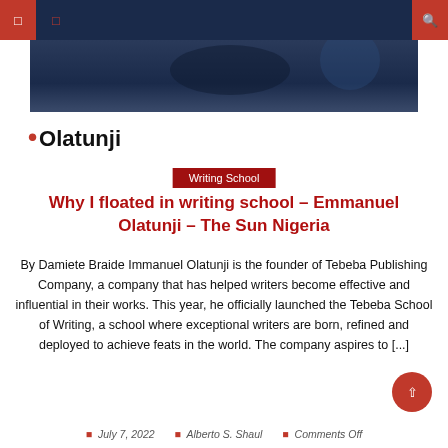Navigation bar with menu and search icons
[Figure (photo): Dark blue website hero banner image]
•Olatunji
Writing School
Why I floated in writing school – Emmanuel Olatunji – The Sun Nigeria
By Damiete Braide Immanuel Olatunji is the founder of Tebeba Publishing Company, a company that has helped writers become effective and influential in their works. This year, he officially launched the Tebeba School of Writing, a school where exceptional writers are born, refined and deployed to achieve feats in the world. The company aspires to [...]
July 7, 2022   Alberto S. Shaul   Comments Off